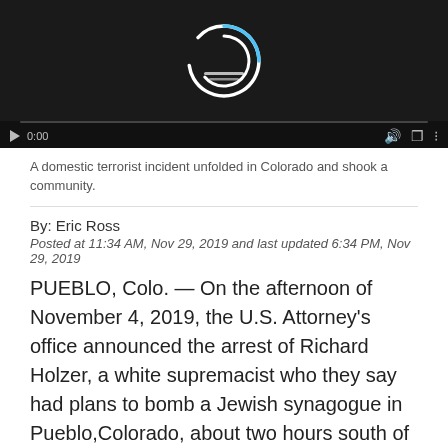[Figure (screenshot): Video player with dark background showing a loading spinner (white arc with blue arc) in the center. Controls bar at bottom shows play button, 0:00 timestamp, volume icon, and other controls.]
A domestic terrorist incident unfolded in Colorado and shook a community.
By: Eric Ross
Posted at 11:34 AM, Nov 29, 2019 and last updated 6:34 PM, Nov 29, 2019
PUEBLO, Colo. — On the afternoon of November 4, 2019, the U.S. Attorney's office announced the arrest of Richard Holzer, a white supremacist who they say had plans to bomb a Jewish synagogue in Pueblo,Colorado, about two hours south of Denver.
"We are here today to announce that federal law